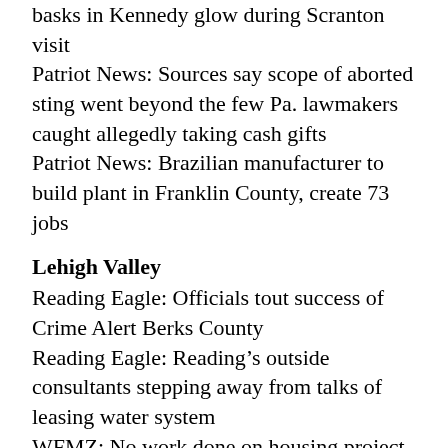basks in Kennedy glow during Scranton visit
Patriot News: Sources say scope of aborted sting went beyond the few Pa. lawmakers caught allegedly taking cash gifts
Patriot News: Brazilian manufacturer to build plant in Franklin County, create 73 jobs
Lehigh Valley
Reading Eagle: Officials tout success of Crime Alert Berks County
Reading Eagle: Reading’s outside consultants stepping away from talks of leasing water system
WFMZ: No work done on housing project years after awarding grant
WFMZ: Best way to save jobs at EASD? Neither side knows
WFMZ: $5.5 million tax credit to help fund